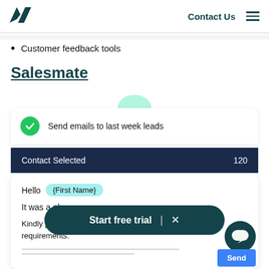Contact Us
Customer feedback tools
Salesmate
[Figure (screenshot): Salesmate CRM UI screenshot showing email automation: a card with green checkmark saying 'Send emails to last week leads', a dark navy bar with 'Contact Selected 120', an email compose area with 'Hello {First Name}', partial text 'It was a plea...', 'Kindly pick a date from my calendar to discuss over y... requirements.', a 'Start free trial' button overlay, a chat bubble, and a Send button.]